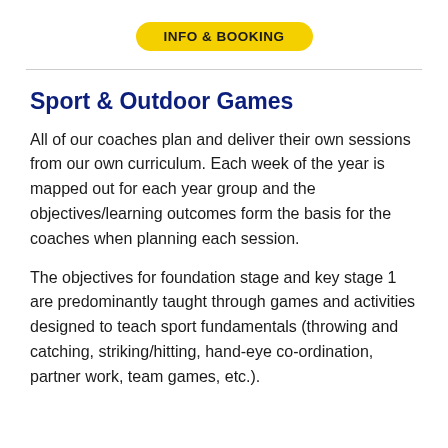INFO & BOOKING
Sport & Outdoor Games
All of our coaches plan and deliver their own sessions from our own curriculum. Each week of the year is mapped out for each year group and the objectives/learning outcomes form the basis for the coaches when planning each session.
The objectives for foundation stage and key stage 1 are predominantly taught through games and activities designed to teach sport fundamentals (throwing and catching, striking/hitting, hand-eye co-ordination, partner work, team games, etc.).